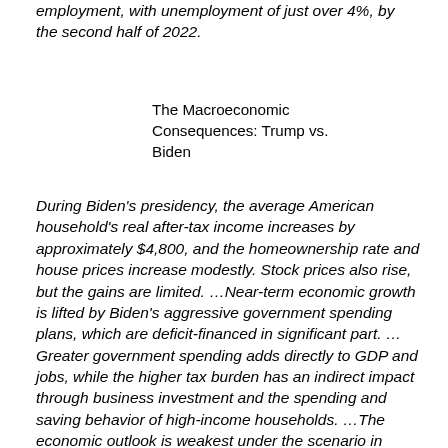employment, with unemployment of just over 4%, by the second half of 2022.
The Macroeconomic Consequences: Trump vs. Biden
During Biden's presidency, the average American household's real after-tax income increases by approximately $4,800, and the homeownership rate and house prices increase modestly. Stock prices also rise, but the gains are limited. …Near-term economic growth is lifted by Biden's aggressive government spending plans, which are deficit-financed in significant part. …Greater government spending adds directly to GDP and jobs, while the higher tax burden has an indirect impact through business investment and the spending and saving behavior of high-income households. …The economic outlook is weakest under the scenario in which Trump and